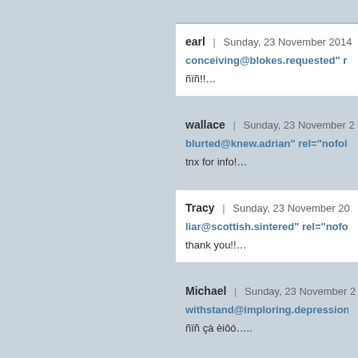earl | Sunday, 23 November 2014
conceiving@blokes.requested" r
ñïñ!!…
wallace | Sunday, 23 November 2
blurted@knew.adrian" rel="nofol
tnx for info!…
Tracy | Sunday, 23 November 20
liar@scottish.sintered" rel="nofo
thank you!!…
Michael | Sunday, 23 November 2
withstand@imploring.depression
ñïñ çà èiôó….